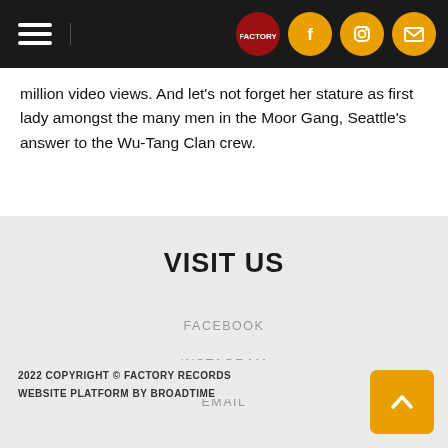Navigation bar with hamburger menu and social icons (Facebook, Instagram, Email)
million video views. And let's not forget her stature as first lady amongst the many men in the Moor Gang, Seattle's answer to the Wu-Tang Clan crew.
VISIT US
FACEBOOK
INSTAGRAM
EMAIL
2022 COPYRIGHT © FACTORY RECORDS
WEBSITE PLATFORM BY BROADTIME